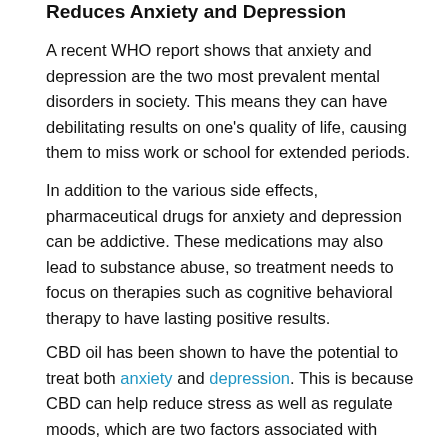Reduces Anxiety and Depression
A recent WHO report shows that anxiety and depression are the two most prevalent mental disorders in society. This means they can have debilitating results on one's quality of life, causing them to miss work or school for extended periods.
In addition to the various side effects, pharmaceutical drugs for anxiety and depression can be addictive. These medications may also lead to substance abuse, so treatment needs to focus on therapies such as cognitive behavioral therapy to have lasting positive results.
CBD oil has been shown to have the potential to treat both anxiety and depression. This is because CBD can help reduce stress as well as regulate moods, which are two factors associated with these disorders. A Brazilian study was